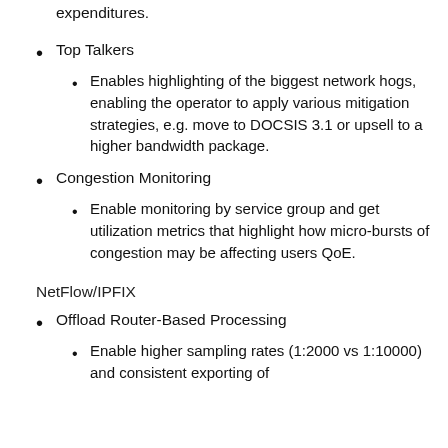expenditures.
Top Talkers
Enables highlighting of the biggest network hogs, enabling the operator to apply various mitigation strategies, e.g. move to DOCSIS 3.1 or upsell to a higher bandwidth package.
Congestion Monitoring
Enable monitoring by service group and get utilization metrics that highlight how micro-bursts of congestion may be affecting users QoE.
NetFlow/IPFIX
Offload Router-Based Processing
Enable higher sampling rates (1:2000 vs 1:10000) and consistent exporting of